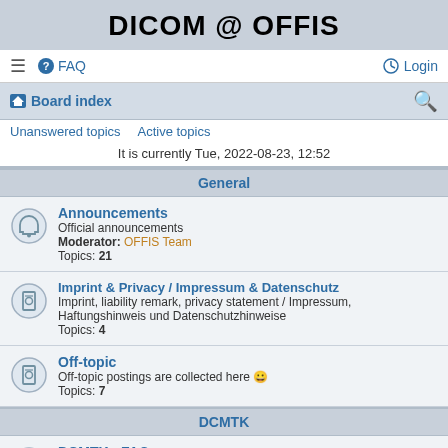DICOM @ OFFIS
≡  FAQ    Login
Board index
Unanswered topics   Active topics
It is currently Tue, 2022-08-23, 12:52
General
Announcements
Official announcements
Moderator: OFFIS Team
Topics: 21
Imprint & Privacy / Impressum & Datenschutz
Imprint, liability remark, privacy statement / Impressum, Haftungshinweis und Datenschutzhinweise
Topics: 4
Off-topic
Off-topic postings are collected here 😀
Topics: 7
DCMTK
DCMTK - FAQ
Frequently Asked Questions regarding DCMTK
Moderator: FAQ Team
Topics: 50
DCMTK - Installation
Installation and installation of DCMTK